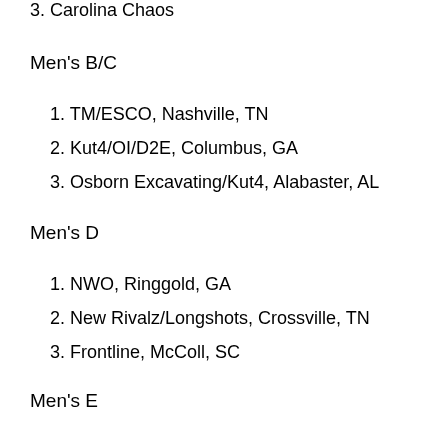3. Carolina Chaos
Men's B/C
1. TM/ESCO, Nashville, TN
2. Kut4/OI/D2E, Columbus, GA
3. Osborn Excavating/Kut4, Alabaster, AL
Men's D
1. NWO, Ringgold, GA
2. New Rivalz/Longshots, Crossville, TN
3. Frontline, McColl, SC
Men's E
1. ALX, Allover, AL
2. Dream Team, Valdosta, GA
3. TSH, McMinville, TN
Men's REC